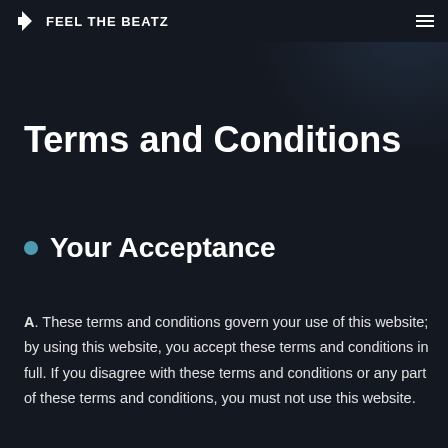FEEL THE BEATZ
Terms and Conditions
Your Acceptance
A. These terms and conditions govern your use of this website; by using this website, you accept these terms and conditions in full. If you disagree with these terms and conditions or any part of these terms and conditions, you must not use this website.